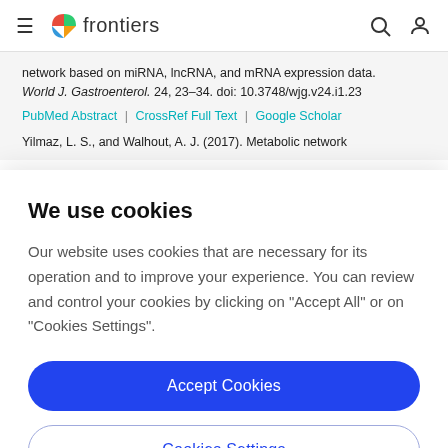frontiers
network based on miRNA, lncRNA, and mRNA expression data. World J. Gastroenterol. 24, 23–34. doi: 10.3748/wjg.v24.i1.23
PubMed Abstract | CrossRef Full Text | Google Scholar
Yilmaz, L. S., and Walhout, A. J. (2017). Metabolic network
We use cookies
Our website uses cookies that are necessary for its operation and to improve your experience. You can review and control your cookies by clicking on "Accept All" or on "Cookies Settings".
Accept Cookies
Cookies Settings